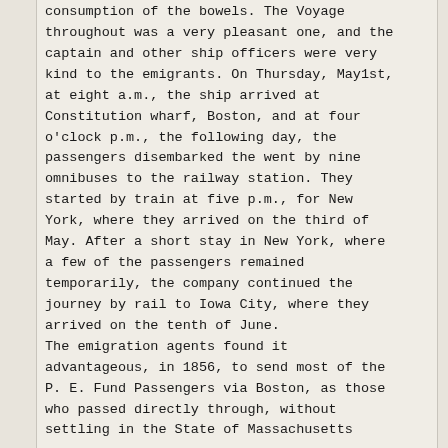consumption of the bowels. The Voyage throughout was a very pleasant one, and the captain and other ship officers were very kind to the emigrants. On Thursday, May1st, at eight a.m., the ship arrived at Constitution wharf, Boston, and at four o'clock p.m., the following day, the passengers disembarked the went by nine omnibuses to the railway station. They started by train at five p.m., for New York, where they arrived on the third of May. After a short stay in New York, where a few of the passengers remained temporarily, the company continued the journey by rail to Iowa City, where they arrived on the tenth of June. The emigration agents found it advantageous, in 1856, to send most of the P. E. Fund Passengers via Boston, as those who passed directly through, without settling in the State of Massachusetts